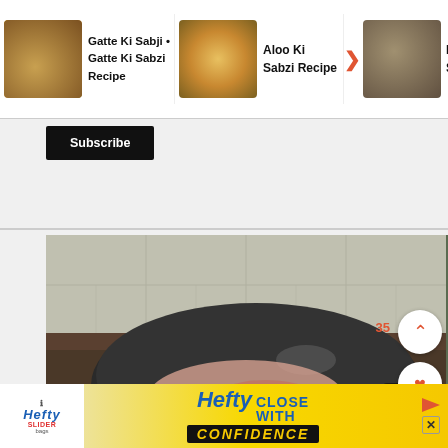[Figure (screenshot): Website screenshot showing recipe cards at top: Gatte Ki Sabji / Gatte Ki Sabzi Recipe, Aloo Ki Sabzi Recipe, Baingan Ki Sookhi Sabzi. Below is a Subscribe button. Main area shows a cooking photo of a wok with chopped onions and spices, with a hand pouring oil. UI overlay buttons visible: up arrow, heart/like with count 35, search icon, and X. Bottom has a Hefty 'Close With Confidence' advertisement banner.]